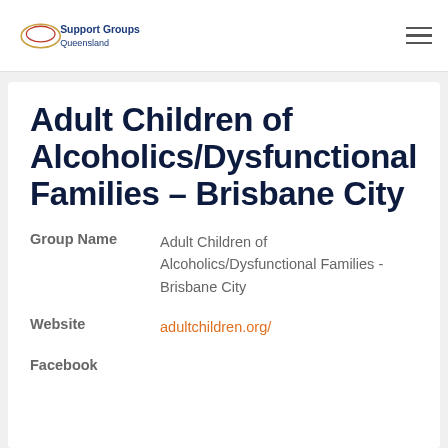Support Groups Queensland
Adult Children of Alcoholics/Dysfunctional Families – Brisbane City
| Field | Value |
| --- | --- |
| Group Name | Adult Children of Alcoholics/Dysfunctional Families - Brisbane City |
| Website | adultchildren.org/ |
| Facebook |  |